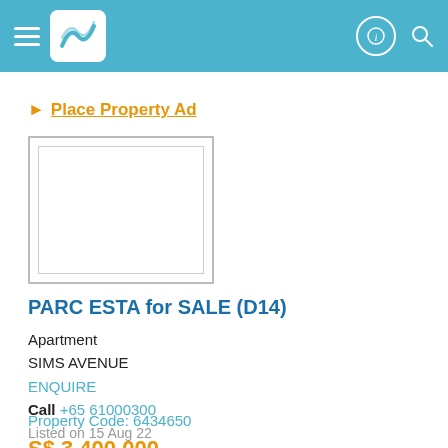Navigation header with hamburger menu, logo, info icon, search icon
▶ Place Property Ad
[Figure (photo): Property listing image placeholder with double border frame]
PARC ESTA for SALE (D14)
Apartment
SIMS AVENUE
ENQUIRE
Call +65 61000300
Listed on 15 Aug 22
Property Code: 6434650
S$ 3,400,000